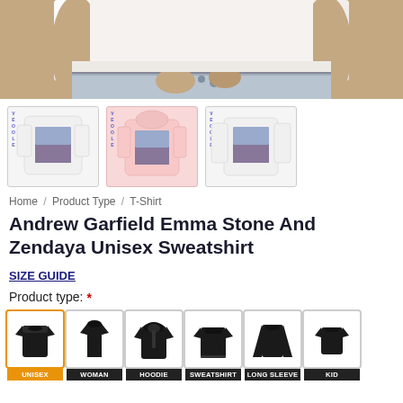[Figure (photo): Hero image showing a person's torso wearing a white top with jeans, cropped to show waist area]
[Figure (photo): Three product thumbnail images showing sweatshirts with Andrew Garfield Emma Stone and Zendaya print: a white sweatshirt, a pink hoodie, and a white long-sleeve]
Home / Product Type / T-Shirt
Andrew Garfield Emma Stone And Zendaya Unisex Sweatshirt
SIZE GUIDE
Product type: *
[Figure (illustration): Product type selector showing 6 clothing type icons: UNISEX (selected with orange border), WOMAN, HOODIE, SWEATSHIRT, LONG SLEEVE, KID — each as a black garment icon with label bar]